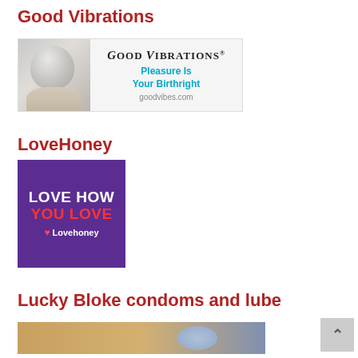Good Vibrations
[Figure (advertisement): Good Vibrations banner ad with older woman holding a cup, logo text 'Good Vibrations', tagline 'Pleasure Is Your Birthright', url 'goodvibes.com']
LoveHoney
[Figure (advertisement): LoveHoney purple square banner ad with white text 'LOVE HOW' and red text 'YOU LOVE' and white brand name 'Lovehoney' with heart icon]
Lucky Bloke condoms and lube
[Figure (photo): Partial photo strip at bottom of page for Lucky Bloke]